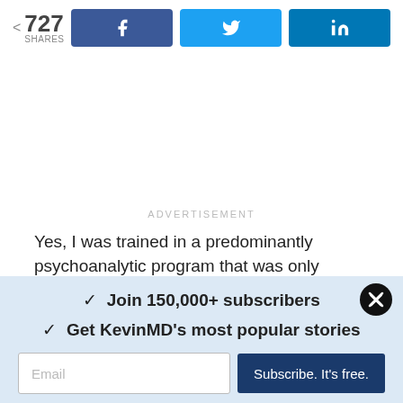[Figure (infographic): Social share bar showing 727 shares with Facebook, Twitter, and LinkedIn share buttons]
ADVERTISEMENT
Yes, I was trained in a predominantly psychoanalytic program that was only beginning to bring in the psychopharmacologists, who would later dominate the agenda.
✓ Join 150,000+ subscribers
✓ Get KevinMD's most popular stories
Email
Subscribe. It's free.